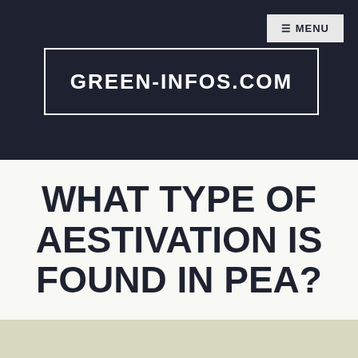≡ MENU
GREEN-INFOS.COM
WHAT TYPE OF AESTIVATION IS FOUND IN PEA?